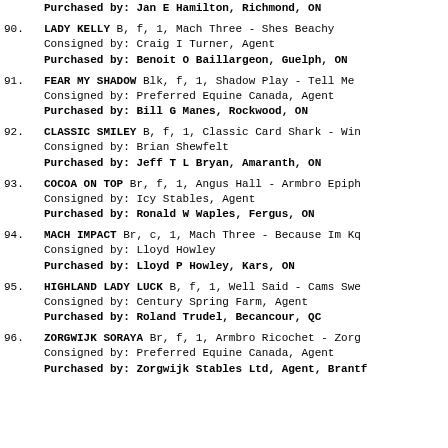Purchased by: Jan E Hamilton, Richmond, ON
90. LADY KELLY B, f, 1, Mach Three - Shes Beachy
Consigned by: Craig I Turner, Agent
Purchased by: Benoit O Baillargeon, Guelph, ON
91. FEAR MY SHADOW Blk, f, 1, Shadow Play - Tell Me
Consigned by: Preferred Equine Canada, Agent
Purchased by: Bill G Manes, Rockwood, ON
92. CLASSIC SMILEY B, f, 1, Classic Card Shark - Win
Consigned by: Brian Shewfelt
Purchased by: Jeff T L Bryan, Amaranth, ON
93. COCOA ON TOP Br, f, 1, Angus Hall - Armbro Epiph
Consigned by: Icy Stables, Agent
Purchased by: Ronald W Waples, Fergus, ON
94. MACH IMPACT Br, c, 1, Mach Three - Because Im Kq
Consigned by: Lloyd Howley
Purchased by: Lloyd P Howley, Kars, ON
95. HIGHLAND LADY LUCK B, f, 1, Well Said - Cams Swe
Consigned by: Century Spring Farm, Agent
Purchased by: Roland Trudel, Becancour, QC
96. ZORGWIJK SORAYA Br, f, 1, Armbro Ricochet - Zorg
Consigned by: Preferred Equine Canada, Agent
Purchased by: Zorgwijk Stables Ltd, Agent, Brantf